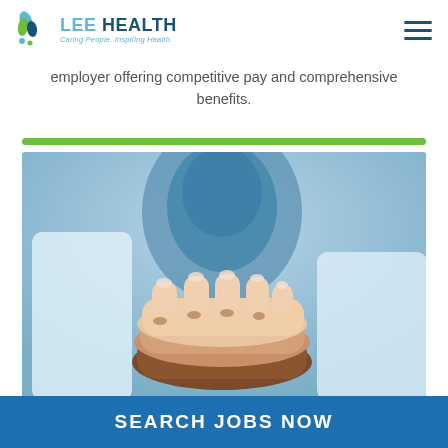Lee Health – Caring People. Inspiring Health.
employer offering competitive pay and comprehensive benefits.
[Figure (photo): Multiple hands of diverse people stacked together in a gesture of teamwork and unity, with medical/healthcare workers in white coats visible in the background.]
SEARCH JOBS NOW